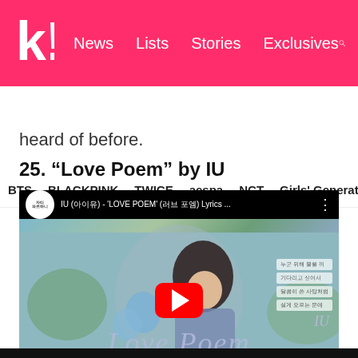k! News Lists Stories Exclusives
BTS BLACKPINK TWICE aespa NCT Girls' Generation
heard of before.
25. “Love Poem” by IU
[Figure (screenshot): YouTube video embed showing IU 'LOVE POEM' lyrics video thumbnail. Features a young woman with dark hair resting her chin on her hand surrounded by blue balloons and greenery. Korean text lines appear on the right side. A red YouTube play button is visible in the center. The bottom of the thumbnail shows 'Love Poem' in large cursive lavender text with footer text 'TRANS: KOSMOSUB@ZF' on the left and '2019/fordatu' on the right.]